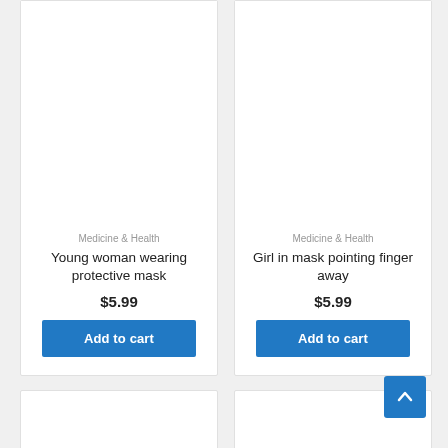[Figure (photo): Product card - Young woman wearing protective mask, white background image area]
Medicine & Health
Young woman wearing protective mask
$5.99
Add to cart
[Figure (photo): Product card - Girl in mask pointing finger away, white background image area]
Medicine & Health
Girl in mask pointing finger away
$5.99
Add to cart